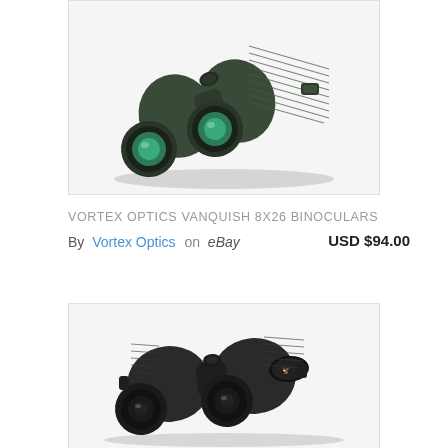[Figure (photo): Green Vortex Optics Vanquish 8x26 binoculars shown at an angle, with green objective lenses and textured rubber armor body]
VORTEX OPTICS VANQUISH 8X26 BINOCULARS
By Vortex Optics on eBay    USD $94.00
[Figure (photo): Dark/black Vortex Optics binoculars shown from front angle, with Vortex logo badge visible on the barrel]